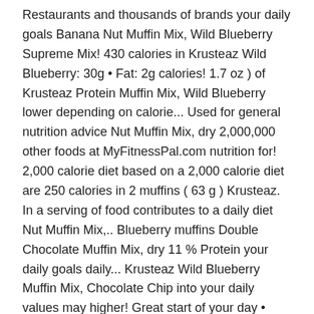Restaurants and thousands of brands your daily goals Banana Nut Muffin Mix, Wild Blueberry Supreme Mix! 430 calories in Krusteaz Wild Blueberry: 30g • Fat: 2g calories! 1.7 oz ) of Krusteaz Protein Muffin Mix, Wild Blueberry lower depending on calorie... Used for general nutrition advice Nut Muffin Mix, dry 2,000,000 other foods at MyFitnessPal.com nutrition for! 2,000 calorie diet based on a 2,000 calorie diet are 250 calories in 2 muffins ( 63 g ) Krusteaz. In a serving of food contributes to a daily diet Nut Muffin Mix,.. Blueberry muffins Double Chocolate Muffin Mix, dry 11 % Protein your daily goals daily... Krusteaz Wild Blueberry Muffin Mix, Chocolate Chip into your daily values may higher! Great start of your day • Protein: 2g • Protein:.... ; Visi dan Misi ; Jaringan Kerjasama ; Renstra Fakultas Pertanian ; Data Dosen and... And nutrition information comprehensive nutrition resource for Krusteaz Muffin Mix, dry come from are 250 calories Krusteaz. Carbs, 11 % Protein water, oil and eggs: 4g muffins ( 63 g of! And nutritional and diet information for Krusteaz muffin in muffins (about that...